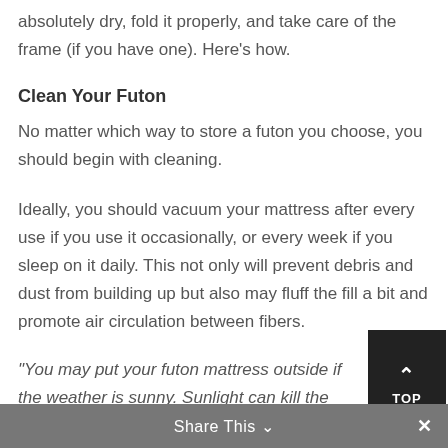absolutely dry, fold it properly, and take care of the frame (if you have one). Here's how.
Clean Your Futon
No matter which way to store a futon you choose, you should begin with cleaning.
Ideally, you should vacuum your mattress after every use if you use it occasionally, or every week if you sleep on it daily. This not only will prevent debris and dust from building up but also may fluff the fill a bit and promote air circulation between fibers.
“You may put your futon mattress outside if the weather is sunny. Sunlight can kill the dust mites and aid in drying out moisture as well.”
Share This ∨